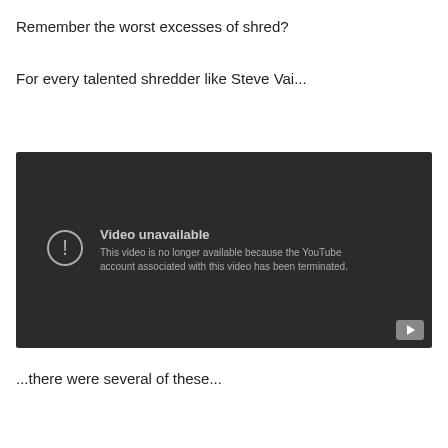Remember the worst excesses of shred?
For every talented shredder like Steve Vai...
[Figure (screenshot): Embedded YouTube video player showing 'Video unavailable' message. Text reads: 'This video is no longer available because the YouTube account associated with this video has been terminated.']
...there were several of these...